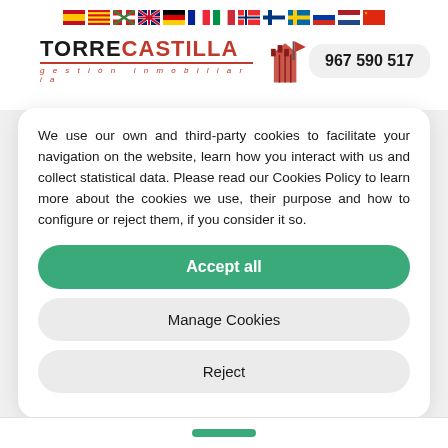[Figure (other): Row of international flag icons representing language selection options]
[Figure (logo): TorreCastilla gestión inmobiliaria logo with red tower graphic]
967 590 517
We use our own and third-party cookies to facilitate your navigation on the website, learn how you interact with us and collect statistical data. Please read our Cookies Policy to learn more about the cookies we use, their purpose and how to configure or reject them, if you consider it so.
Accept all
Manage Cookies
Reject